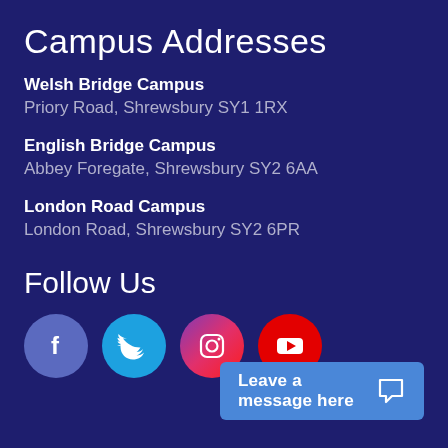Campus Addresses
Welsh Bridge Campus
Priory Road, Shrewsbury SY1 1RX
English Bridge Campus
Abbey Foregate, Shrewsbury SY2 6AA
London Road Campus
London Road, Shrewsbury SY2 6PR
Follow Us
[Figure (infographic): Four social media icons: Facebook (blue circle), Twitter (cyan circle), Instagram (pink/purple circle), YouTube (red circle)]
Leave a message here